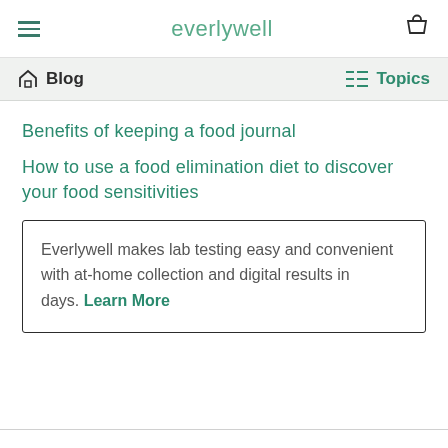everlywell
Blog   Topics
Benefits of keeping a food journal
How to use a food elimination diet to discover your food sensitivities
Everlywell makes lab testing easy and convenient with at-home collection and digital results in days. Learn More